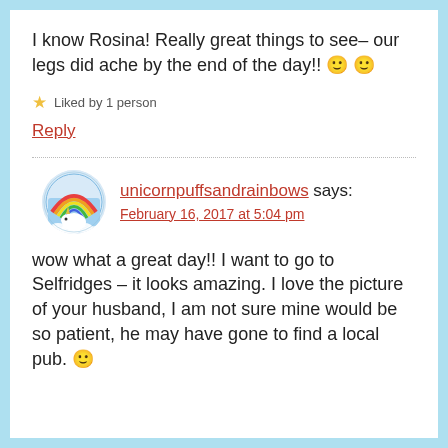I know Rosina! Really great things to see– our legs did ache by the end of the day!! 🙂 🙂
★ Liked by 1 person
Reply
unicornpuffsandrainbows says: February 16, 2017 at 5:04 pm
wow what a great day!! I want to go to Selfridges – it looks amazing. I love the picture of your husband, I am not sure mine would be so patient, he may have gone to find a local pub. 🙂